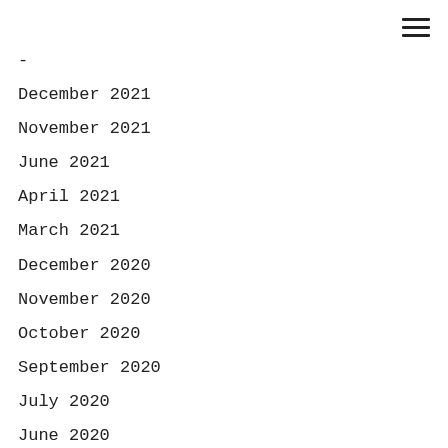[Figure (other): Hamburger menu icon (three horizontal lines) in the top-right corner]
-
December 2021
November 2021
June 2021
April 2021
March 2021
December 2020
November 2020
October 2020
September 2020
July 2020
June 2020
May 2020
March 2020
February 2020
November 2019